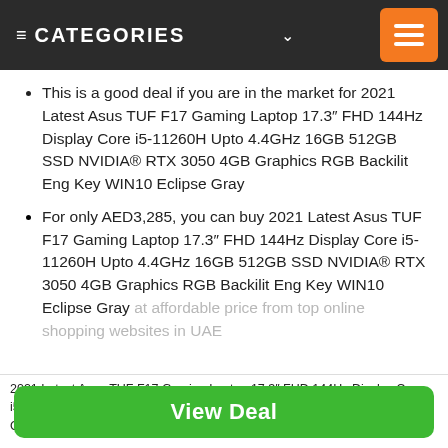CATEGORIES
This is a good deal if you are in the market for 2021 Latest Asus TUF F17 Gaming Laptop 17.3″ FHD 144Hz Display Core i5-11260H Upto 4.4GHz 16GB 512GB SSD NVIDIA® RTX 3050 4GB Graphics RGB Backilit Eng Key WIN10 Eclipse Gray
For only AED3,285, you can buy 2021 Latest Asus TUF F17 Gaming Laptop 17.3″ FHD 144Hz Display Core i5-11260H Upto 4.4GHz 16GB 512GB SSD NVIDIA® RTX 3050 4GB Graphics RGB Backilit Eng Key WIN10 Eclipse Gray at affordable price from top online shopping websites in UAE
2021 Latest Asus TUF F17 Gaming Laptop 17.3″ FHD 144Hz Display Core i5-11260H Upto 4.4GHz 16GB 512GB SSD NVIDIA® RTX 3050 4GB Graphics RGB Backilit Eng Key WIN10 Eclipse Gray
View Deal